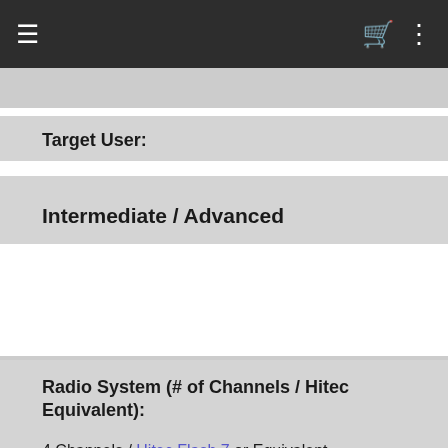☰  🛒  ⋮
Target User:
Intermediate / Advanced
Radio System (# of Channels / Hitec Equivalent):
4 Channels / Hitec Flash 7 or Equivalent